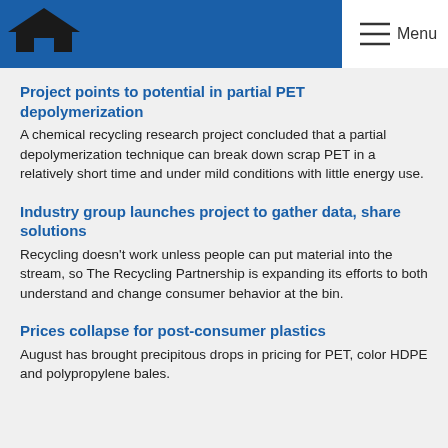Menu
Project points to potential in partial PET depolymerization
A chemical recycling research project concluded that a partial depolymerization technique can break down scrap PET in a relatively short time and under mild conditions with little energy use.
Industry group launches project to gather data, share solutions
Recycling doesn't work unless people can put material into the stream, so The Recycling Partnership is expanding its efforts to both understand and change consumer behavior at the bin.
Prices collapse for post-consumer plastics
August has brought precipitous drops in pricing for PET, color HDPE and polypropylene bales.